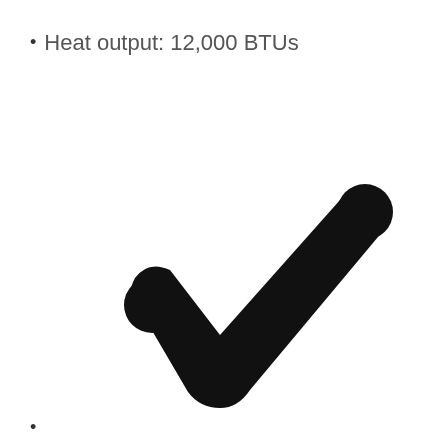Heat output: 12,000 BTUs
[Figure (illustration): Large black checkmark symbol centered in the lower portion of the page]